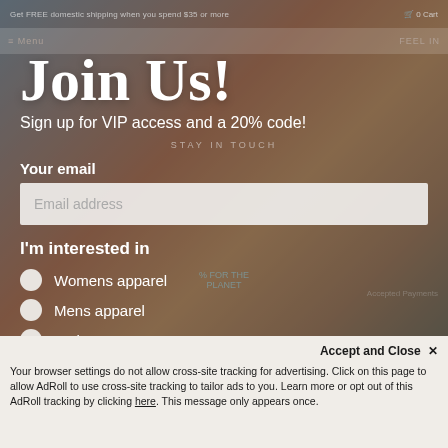Get FREE domestic shipping when you spend $35 or more · 0 Cart
Join Us!
Sign up for VIP access and a 20% code!
STAY IN TOUCH
Your email
Email address
I'm interested in
Womens apparel
Mens apparel
Both
Accept and Close ✕
Your browser settings do not allow cross-site tracking for advertising. Click on this page to allow AdRoll to use cross-site tracking to tailor ads to you. Learn more or opt out of this AdRoll tracking by clicking here. This message only appears once.